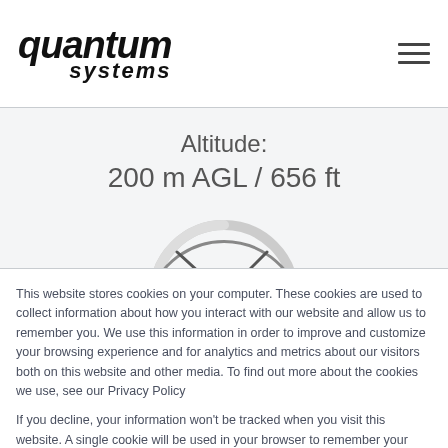[Figure (logo): Quantum Systems logo in italic bold font with 'quantum' on top line and 'systems' below, dark colored]
[Figure (other): Hamburger menu icon (three horizontal lines) in top right of header]
Altitude:
200 m AGL / 656 ft
[Figure (other): Partial speedometer/gauge dial showing arc with needle indicators, partially visible]
This website stores cookies on your computer. These cookies are used to collect information about how you interact with our website and allow us to remember you. We use this information in order to improve and customize your browsing experience and for analytics and metrics about our visitors both on this website and other media. To find out more about the cookies we use, see our Privacy Policy
If you decline, your information won't be tracked when you visit this website. A single cookie will be used in your browser to remember your preference not to be tracked.
Accept All
Decline All